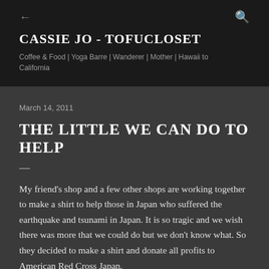← CASSIE JO - TOFUCLOSET Coffee & Food | Yoga Barre | Wanderer | Mother | Hawaii to California
March 14, 2011
THE LITTLE WE CAN DO TO HELP
My friend's shop and a few other shops are working together to make a shirt to help those in Japan who suffered the earthquake and tsunami in Japan. It is so tragic and we wish there was more that we could do but we don't know what. So they decided to make a shirt and donate all profits to American Red Cross Japan.